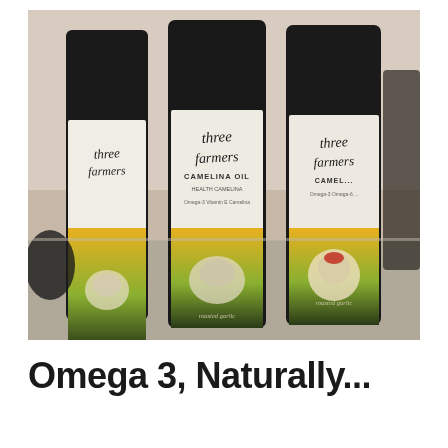[Figure (photo): Three dark glass bottles of Three Farmers Camelina Oil on a kitchen counter. The bottles have label with cursive 'three farmers' branding, yellow and green gradients on the lower portion, and imagery of garlic. One bottle on the right has a roasted garlic flavor variant label.]
Omega 3, Naturally...